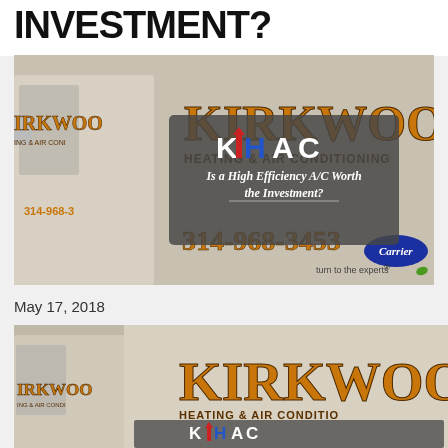INVESTMENT?
[Figure (photo): Kirkwood Heating & Air Conditioning van with KHAC logo overlay and text 'Is a High Efficiency A/C Worth the Investment?' and phone number 314-968-3453]
May 17, 2018
[Figure (photo): Second Kirkwood Heating & Air Conditioning van photo, partially cropped at bottom of page]